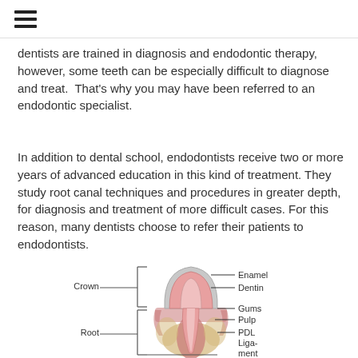☰
dentists are trained in diagnosis and endodontic therapy, however, some teeth can be especially difficult to diagnose and treat.  That's why you may have been referred to an endodontic specialist.
In addition to dental school, endodontists receive two or more years of advanced education in this kind of treatment. They study root canal techniques and procedures in greater depth, for diagnosis and treatment of more difficult cases. For this reason, many dentists choose to refer their patients to endodontists.
[Figure (illustration): Anatomical cross-section diagram of a tooth showing Crown and Root sections, with labels for Enamel, Dentin, Gums, Pulp, and PDL Ligament.]